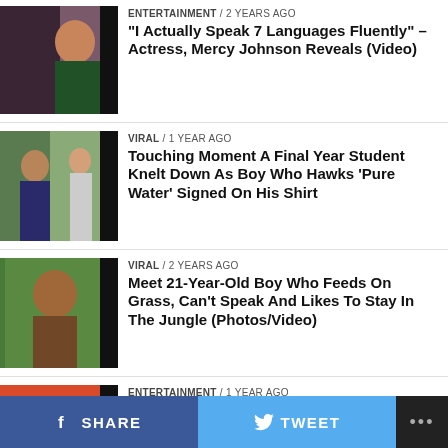[Figure (photo): Thumbnail of Mercy Johnson actress]
ENTERTAINMENT / 2 years ago
“I Actually Speak 7 Languages Fluently” – Actress, Mercy Johnson Reveals (Video)
[Figure (photo): Thumbnail of final year student kneeling scene]
VIRAL / 1 year ago
Touching Moment A Final Year Student Knelt Down As Boy Who Hawks ‘Pure Water’ Signed On His Shirt
[Figure (photo): Thumbnail of 21-year-old boy who feeds on grass]
VIRAL / 2 years ago
Meet 21-Year-Old Boy Who Feeds On Grass, Can’t Speak And Likes To Stay In The Jungle (Photos/Video)
[Figure (photo): Thumbnail of Adekunle Gold and Simi]
ENTERTAINMENT / 1 year ago
Simi Reacts Amid Cheating Allegations Against Her Husband, Adekunle Gold
SHARE   TWEET   ...